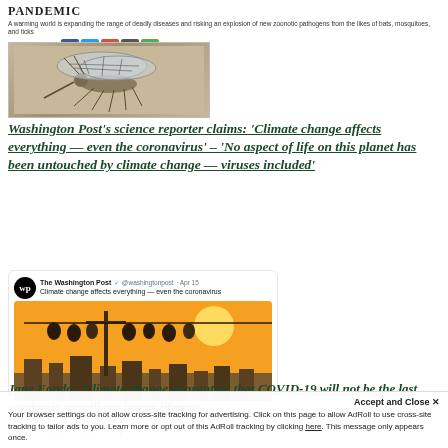PANDEMIC
A warming world is expanding the range of deadly diseases and risking an explosion of new zoonotic pathogens from the likes of bats, mosquitoes, and ticks
By Jeff Nessmith
[Figure (illustration): Illustration of a mosquito with circuit-board style wing patterns on a tan/brown background]
Washington Post's science reporter claims: 'Climate change affects everything — even the coronavirus' – 'No aspect of life on this planet has been untouched by climate change — viruses included'
[Figure (screenshot): Screenshot of a Washington Post tweet dated Apr 15 reading 'Climate change affects everything — even the coronavirus' with an orange illustration of bats hanging from a power line at sunset, with tweet engagement metrics below.]
Jane Fonda: 'Climate change guarantees that COVID-19 will not be the last pandemic we will see in our lifetime'
Your browser settings do not allow cross-site tracking for advertising. Click on this page to allow AdRoll to use cross-site tracking to tailor ads to you. Learn more or opt out of this AdRoll tracking by clicking here. This message only appears once.
Accept and Close ✕